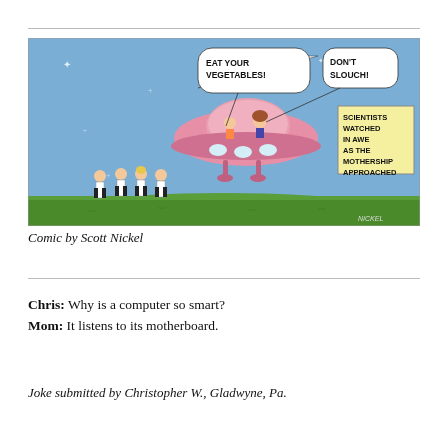[Figure (illustration): Comic strip by Scott Nickel showing a pink flying saucer (mothership) in a blue sky with stars. Inside the saucer are two figures; speech bubbles say 'EAT YOUR VEGETABLES!' and 'DON'T SLOUCH!'. A yellow sign reads 'SCIENTISTS WATCHED IN AWE AS THE MOTHERSHIP APPROACHED'. On the ground, four scientists in white coats watch the approaching ship. Artist signature 'NICKEL' in bottom right corner.]
Comic by Scott Nickel
Chris: Why is a computer so smart?
Mom: It listens to its motherboard.
Joke submitted by Christopher W., Gladwyne, Pa.